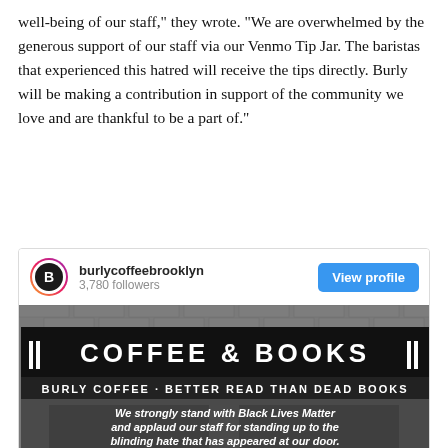well-being of our staff,” they wrote. “We are overwhelmed by the generous support of our staff via our Venmo Tip Jar. The baristas that experienced this hatred will receive the tips directly.  Burly will be making a contribution in support of the community we love and are thankful to be a part of.”
[Figure (screenshot): Instagram profile card for burlycoffeebrooklyn with 3,780 followers and a View profile button, followed by a photo of the Burly Coffee & Books storefront with a black awning reading 'COFFEE & BOOKS' and 'BURLY COFFEE · BETTER READ THAN DEAD BOOKS'. Overlaid white bold italic text reads: 'We strongly stand with Black Lives Matter and applaud our staff for standing up to the blinding hate that has appeared at our door. Unfortunately, this was not an isolated incident with this person and our priority continues to be the safety and well-being of our staff.']